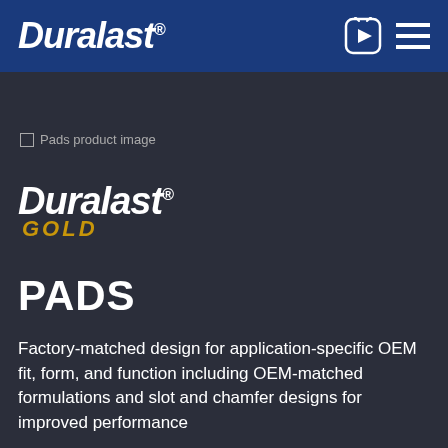Duralast
[Figure (logo): Broken image placeholder: Pads product image]
[Figure (logo): Duralast Gold logo — DURALAST in white italic bold, GOLD in gold/yellow italic bold]
PADS
Factory-matched design for application-specific OEM fit, form, and function including OEM-matched formulations and slot and chamfer designs for improved performance